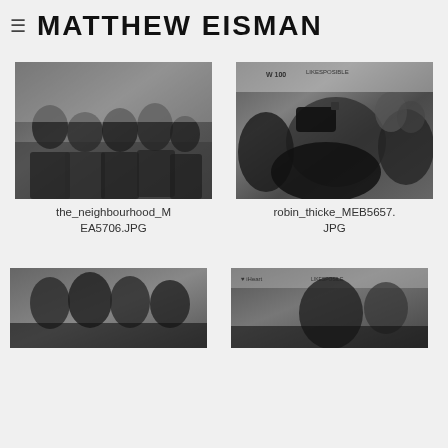MATTHEW EISMAN
[Figure (photo): Black and white photo of a group of musicians (The Neighbourhood) seated on a couch in a studio setting]
the_neighbourhood_MEA5706.JPG
[Figure (photo): Black and white photo of Robin Thicke being filmed/interviewed at a media event with cameras and crew visible, iHeartRadio backdrop]
robin_thicke_MEB5657.JPG
[Figure (photo): Black and white photo of a group of people posing at an event (partially visible, cropped at bottom)]
[Figure (photo): Black and white photo of a person at an iHeartRadio event (partially visible, cropped at bottom)]